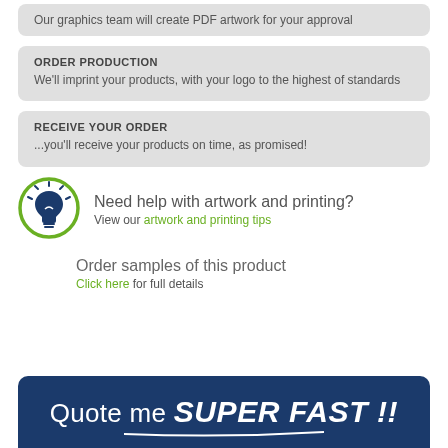Our graphics team will create PDF artwork for your approval
ORDER PRODUCTION
We'll imprint your products, with your logo to the highest of standards
RECEIVE YOUR ORDER
...you'll receive your products on time, as promised!
Need help with artwork and printing? View our artwork and printing tips
Order samples of this product
Click here for full details
[Figure (other): Dark blue banner with handwritten-style text reading 'Quote me SUPER FAST!!']